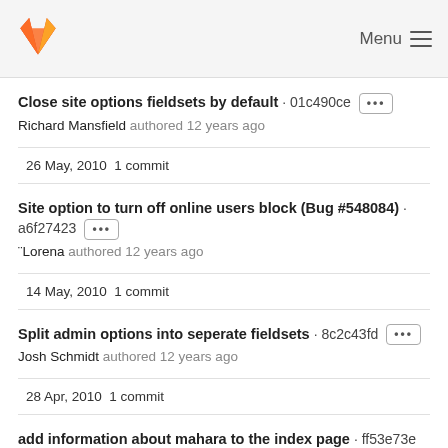GitLab Menu
Close site options fieldsets by default · 01c490ce ··· Richard Mansfield authored 12 years ago
26 May, 2010 1 commit
Site option to turn off online users block (Bug #548084) · a6f27423 ··· ¨Lorena authored 12 years ago
14 May, 2010 1 commit
Split admin options into seperate fieldsets · 8c2c43fd ··· Josh Schmidt authored 12 years ago
28 Apr, 2010 1 commit
add information about mahara to the index page · ff53e73e ··· Evan Goldenberg authored 12 years ago